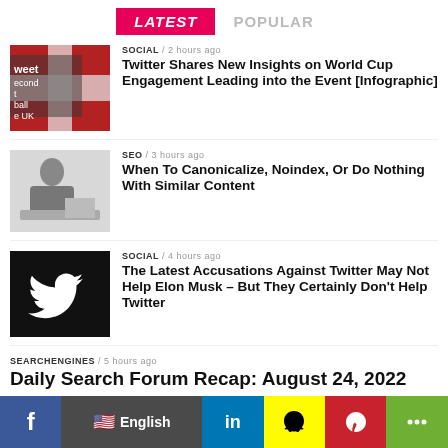LATEST   POPULAR
[Figure (photo): Person with face painted in English flag colors (red cross, white) cheering, with social media text overlay]
SOCIAL / 2 hours ago
Twitter Shares New Insights on World Cup Engagement Leading into the Event [Infographic]
[Figure (photo): Man sitting at desk in office, thinking or working]
SEO / 3 hours ago
When To Canonicalize, Noindex, Or Do Nothing With Similar Content
[Figure (logo): Twitter bird logo white on black background]
SOCIAL / 4 hours ago
The Latest Accusations Against Twitter May Not Help Elon Musk – But They Certainly Don't Help Twitter
SEARCHENGINES / 5 hours ago
Daily Search Forum Recap: August 24, 2022
[Figure (screenshot): Partial screenshot showing content types graphic]
SOCIAL / 6 hours ago
New Report Shows That Podcasts are Generating the...
f  English  in  [Snapchat]  [Pinterest]  [Share]